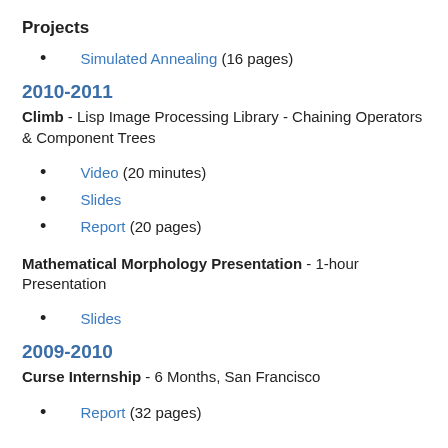Projects
Simulated Annealing (16 pages)
2010-2011
Climb - Lisp Image Processing Library - Chaining Operators & Component Trees
Video (20 minutes)
Slides
Report (20 pages)
Mathematical Morphology Presentation - 1-hour Presentation
Slides
2009-2010
Curse Internship - 6 Months, San Francisco
Report (32 pages)